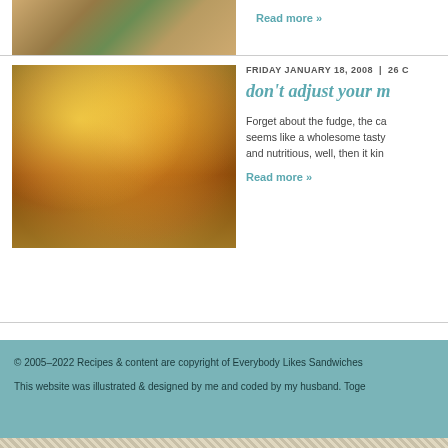[Figure (photo): Partial view of a food dish photo at the top, cropped]
Read more »
FRIDAY JANUARY 18, 2008  |  26 C
don't adjust your m
Forget about the fudge, the ca seems like a wholesome tasty and nutritious, well, then it kin
Read more »
[Figure (photo): Close-up photo of a cheesy baked casserole dish with tomato sauce and melted cheese]
© 2005–2022 Recipes & content are copyright of Everybody Likes Sandwiches
This website was illustrated & designed by me and coded by my husband. Toge